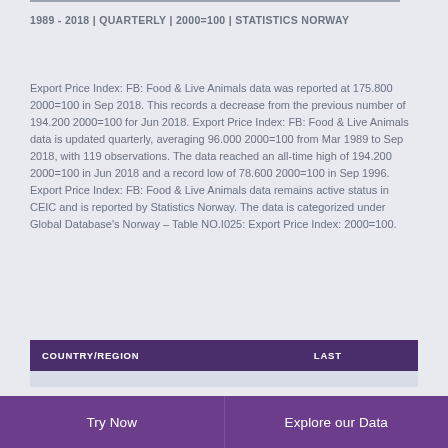1989 - 2018 | QUARTERLY | 2000=100 | STATISTICS NORWAY
Export Price Index: FB: Food & Live Animals data was reported at 175.800 2000=100 in Sep 2018. This records a decrease from the previous number of 194.200 2000=100 for Jun 2018. Export Price Index: FB: Food & Live Animals data is updated quarterly, averaging 96.000 2000=100 from Mar 1989 to Sep 2018, with 119 observations. The data reached an all-time high of 194.200 2000=100 in Jun 2018 and a record low of 78.600 2000=100 in Sep 1996. Export Price Index: FB: Food & Live Animals data remains active status in CEIC and is reported by Statistics Norway. The data is categorized under Global Database's Norway – Table NO.I025: Export Price Index: 2000=100.
| COUNTRY/REGION | LAST |
| --- | --- |
|  |
Try Now   Explore our Data